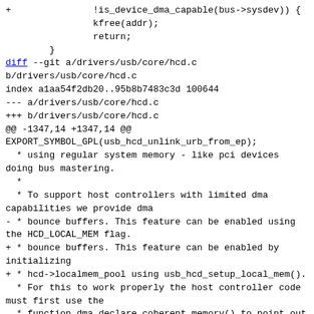+               !is_device_dma_capable(bus->sysdev)) {
                kfree(addr);
                return;
        }
diff --git a/drivers/usb/core/hcd.c b/drivers/usb/core/hcd.c
index a1aa54f2db20..95b8b7483c3d 100644
--- a/drivers/usb/core/hcd.c
+++ b/drivers/usb/core/hcd.c
@@ -1347,14 +1347,14 @@
EXPORT_SYMBOL_GPL(usb_hcd_unlink_urb_from_ep);
  * using regular system memory - like pci devices doing bus mastering.
  *
  * To support host controllers with limited dma capabilities we provide dma
- * bounce buffers. This feature can be enabled using the HCD_LOCAL_MEM flag.
+ * bounce buffers. This feature can be enabled by initializing
+ * hcd->localmem_pool using usb_hcd_setup_local_mem().
  * For this to work properly the host controller code must first use the
  * function dma_declare_coherent_memory() to point out which memory area
  * that should be used for dma allocations.
  *
- * The HCD_LOCAL_MEM flag then tells the usb code to allocate all data for
- * dma using dma_alloc_coherent() which in turn